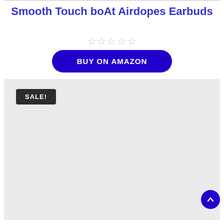Smooth Touch boAt Airdopes Earbuds
★★★★★ (empty stars rating)
BUY ON AMAZON
[Figure (photo): Product image area with SALE! badge overlay on a light grey background placeholder]
SALE!